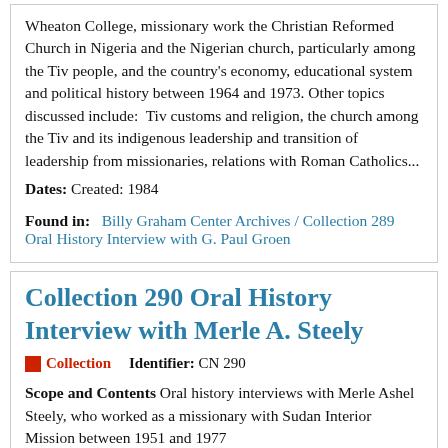Wheaton College, missionary work the Christian Reformed Church in Nigeria and the Nigerian church, particularly among the Tiv people, and the country's economy, educational system and political history between 1964 and 1973. Other topics discussed include:  Tiv customs and religion, the church among the Tiv and its indigenous leadership and transition of leadership from missionaries, relations with Roman Catholics...
Dates: Created: 1984
Found in:  Billy Graham Center Archives / Collection 289 Oral History Interview with G. Paul Groen
Collection 290 Oral History Interview with Merle A. Steely
Collection   Identifier: CN 290
Scope and Contents Oral history interviews with Merle Ashel Steely, who worked as a missionary with Sudan Interior Mission between 1951 and 1977